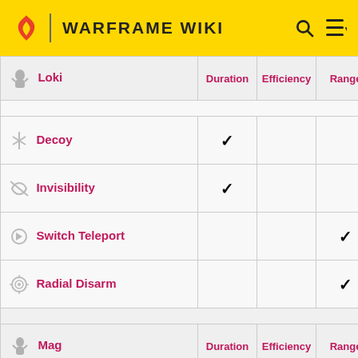WARFRAME WIKI
| Loki | Duration | Efficiency | Range |
| --- | --- | --- | --- |
| Decoy | ✓ |  |  |
| Invisibility | ✓ |  |  |
| Switch Teleport |  |  | ✓ |
| Radial Disarm |  |  | ✓ |
| Mag | Duration | Efficiency | Range |
| Pull |  |  | ✓ |
| Magnetize | ✓ |  | ✓ |
| Polarize | ✓ |  | ✓ |